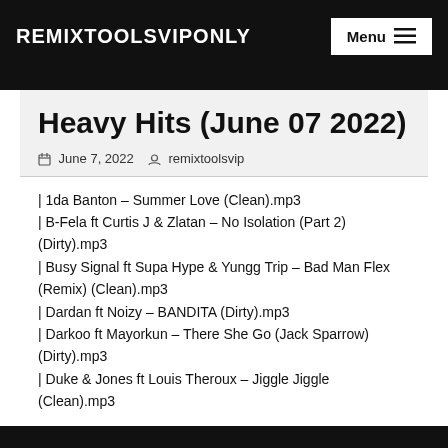REMIXTOOLSVIPONLY
Heavy Hits (June 07 2022)
June 7, 2022   remixtoolsvip
| 1da Banton – Summer Love (Clean).mp3
| B-Fela ft Curtis J & Zlatan – No Isolation (Part 2) (Dirty).mp3
| Busy Signal ft Supa Hype & Yungg Trip – Bad Man Flex (Remix) (Clean).mp3
| Dardan ft Noizy – BANDITA (Dirty).mp3
| Darkoo ft Mayorkun – There She Go (Jack Sparrow) (Dirty).mp3
| Duke & Jones ft Louis Theroux – Jiggle Jiggle (Clean).mp3